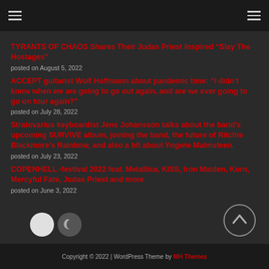Navigation header with hamburger menus
TYRANTS OF CHAOS Shares Their Judas Priest Inspired “Slay The Hostages”
posted on August 5, 2022
ACCEPT guitarist Wolf Hoffmann about pandemic time: “I didn’t know when we are going to go out again, and are we ever going to go on tour again?”
posted on July 28, 2022
Stratovarius keyboardist Jens Johansson talks about the band’s upcoming SURVIVE album, joining the band, the future of Ritchie Blackmore’s Rainbow, and also a bit about Yngwie Malmsteen.
posted on July 23, 2022
COPENHELL -festival 2022 feat. Metallica, KISS, Iron Maiden, Korn, Mercyful Fate, Judas Priest and more
posted on June 3, 2022
Copyright © 2022 | WordPress Theme by MH Themes